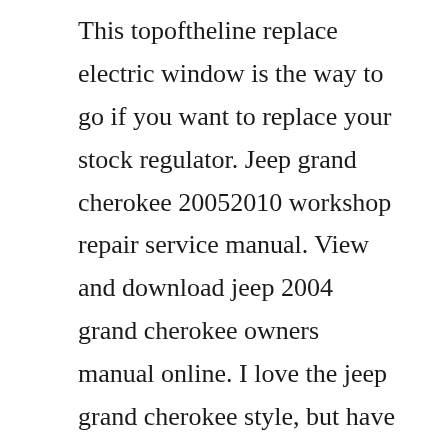This topoftheline replace electric window is the way to go if you want to replace your stock regulator. Jeep grand cherokee 20052010 workshop repair service manual. View and download jeep 2004 grand cherokee owners manual online. I love the jeep grand cherokee style, but have great concerns over mechanical reliability and body rust. A number of problems occur in your vehicle as a result of your engine overheating. I get a rubbingscreeching noise from the steering column when i make a turn. Sep 09, 2014 grand cherokee window motor regulator